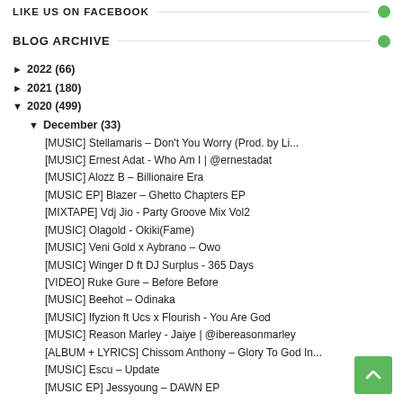LIKE US ON FACEBOOK
BLOG ARCHIVE
► 2022 (66)
► 2021 (180)
▼ 2020 (499)
▼ December (33)
[MUSIC] Stellamaris – Don't You Worry (Prod. by Li...
[MUSIC] Ernest Adat - Who Am I | @ernestadat
[MUSIC] Alozz B – Billionaire Era
[MUSIC EP] Blazer – Ghetto Chapters EP
[MIXTAPE] Vdj Jio - Party Groove Mix Vol2
[MUSIC] Olagold - Okiki(Fame)
[MUSIC] Veni Gold x Aybrano – Owo
[MUSIC] Winger D ft DJ Surplus - 365 Days
[VIDEO] Ruke Gure – Before Before
[MUSIC] Beehot – Odinaka
[MUSIC] Ifyzion ft Ucs x Flourish - You Are God
[MUSIC] Reason Marley - Jaiye | @ibereasonmarley
[ALBUM + LYRICS] Chissom Anthony – Glory To God In...
[MUSIC] Escu – Update
[MUSIC EP] Jessyoung – DAWN EP